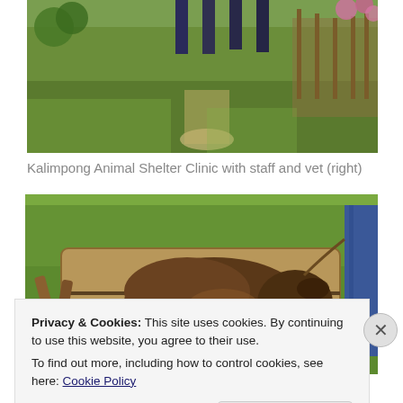[Figure (photo): Outdoor photo showing people standing on grass near a wooden fence with flowering plants, partial view from waist down]
Kalimpong Animal Shelter Clinic with staff and vet (right)
[Figure (photo): Photo of a dog lying on a burlap sack on grass, with wooden poles and a rope visible, and a person's legs with jeans visible at the right edge]
Privacy & Cookies: This site uses cookies. By continuing to use this website, you agree to their use.
To find out more, including how to control cookies, see here: Cookie Policy
Close and accept